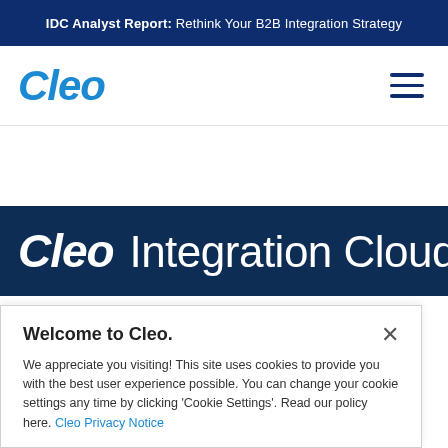IDC Analyst Report: Rethink Your B2B Integration Strategy
[Figure (logo): Cleo logo in blue italic bold text]
[Figure (illustration): Hamburger menu icon with three horizontal lines]
Cleo Integration Cloud™
Welcome to Cleo.
We appreciate you visiting! This site uses cookies to provide you with the best user experience possible. You can change your cookie settings any time by clicking 'Cookie Settings'. Read our policy here. Cleo Privacy Notice